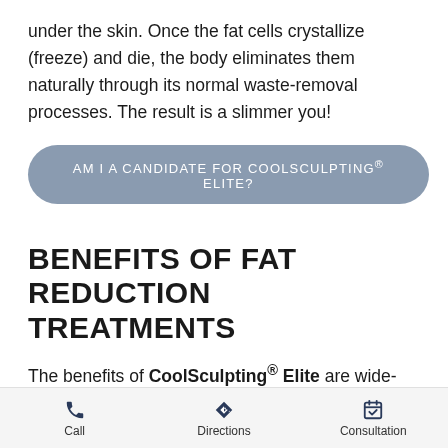under the skin. Once the fat cells crystallize (freeze) and die, the body eliminates them naturally through its normal waste-removal processes. The result is a slimmer you!
AM I A CANDIDATE FOR COOLSCULPTING® ELITE?
BENEFITS OF FAT REDUCTION TREATMENTS
The benefits of CoolSculpting® Elite are wide-reaching — patients enjoy perks in all aspects of life, from weight loss and better self-esteem to minimal scarring and side effects. Other CoolSculpting® Elite
Call   Directions   Consultation